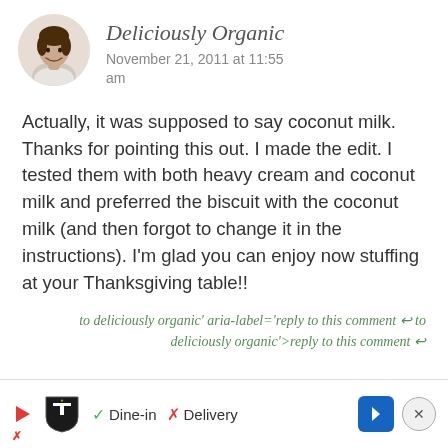[Figure (photo): Circular avatar photo of a woman with dark hair, smiling, against a light background]
Deliciously Organic
November 21, 2011 at 11:55 am
Actually, it was supposed to say coconut milk. Thanks for pointing this out. I made the edit. I tested them with both heavy cream and coconut milk and preferred the biscuit with the coconut milk (and then forgot to change it in the instructions). I'm glad you can enjoy now stuffing at your Thanksgiving table!!
to deliciously organic' aria-label='reply to this comment ↩ to deliciously organic'>reply to this comment ↩
[Figure (logo): TopGolf logo with shield shape and triangle play button]
✓ Dine-in  ✗ Delivery